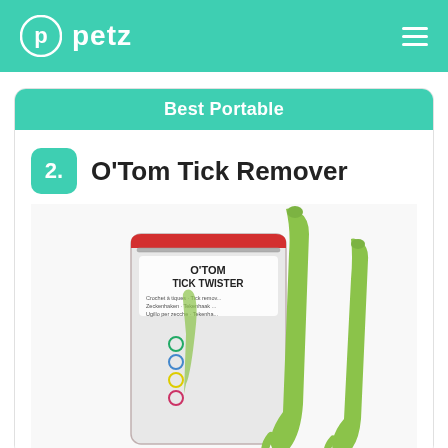petz
Best Portable
2. O'Tom Tick Remover
[Figure (photo): Photo of O'Tom Tick Twister product packaging and two green tick remover tools]